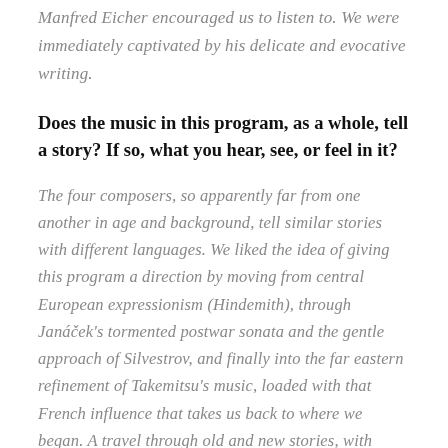Manfred Eicher encouraged us to listen to. We were immediately captivated by his delicate and evocative writing.
Does the music in this program, as a whole, tell a story? If so, what you hear, see, or feel in it?
The four composers, so apparently far from one another in age and background, tell similar stories with different languages. We liked the idea of giving this program a direction by moving from central European expressionism (Hindemith), through Janáček's tormented postwar sonata and the gentle approach of Silvestrov, and finally into the far eastern refinement of Takemitsu's music, loaded with that French influence that takes us back to where we began. A travel through old and new stories, with plenty of different nuances!
Takemitsu's Piano sonata (1954) is in its...